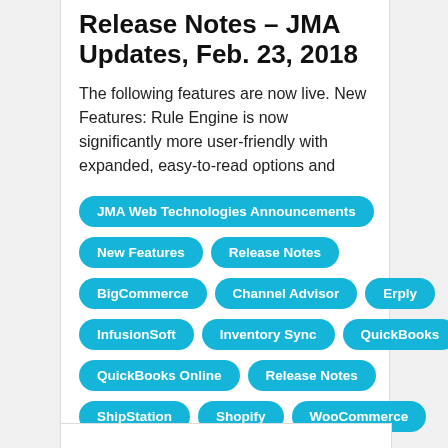Release Notes – JMA Updates, Feb. 23, 2018
The following features are now live. New Features: Rule Engine is now significantly more user-friendly with expanded, easy-to-read options and
JMA Web Technologies Announcements
New Features
Release Notes
BigCommerce
Channel Advisor
Erply
InfusionSoft
Inventory Sync
QuickBooks
QuickBooks Online
Release Notes
ShipStation
Shopify
WooCommerce